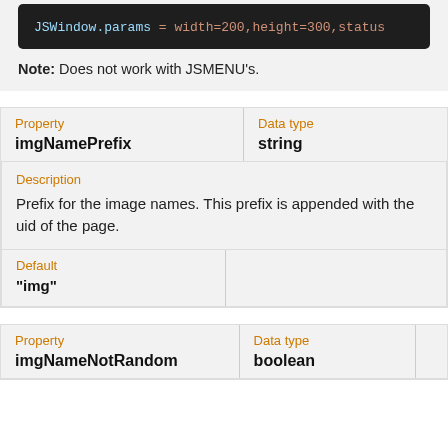[Figure (screenshot): Code block showing: JSWindow.params = width=200,height=300,status]
Note: Does not work with JSMENU's.
| Property | Data type |  |
| --- | --- | --- |
| imgNamePrefix | string |  |
Description
Prefix for the image names. This prefix is appended with the uid of the page.
| Default |  |
| --- | --- |
| "img" |  |
| Property | Data type |  |
| --- | --- | --- |
| imgNameNotRandom | boolean |  |